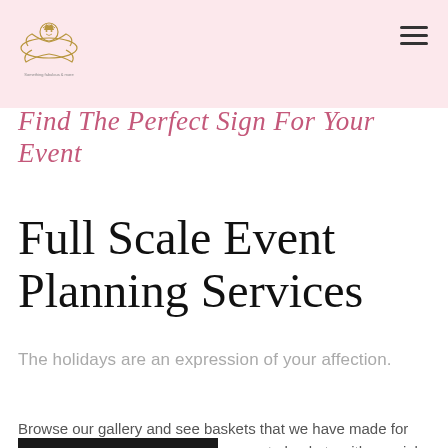Find The Perfect Sign For Your Event
Full Scale Event Planning Services
The holidays are an expression of your affection.
Browse our gallery and see baskets that we have made for our previous clents. We also can create baskets with special themes. Contact us for more information on how we can make your next event a success.